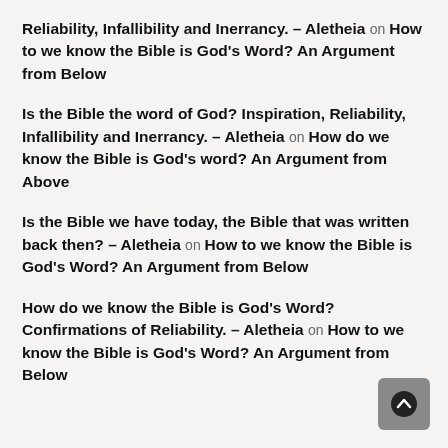Reliability, Infallibility and Inerrancy. – Aletheia on How to we know the Bible is God's Word? An Argument from Below
Is the Bible the word of God? Inspiration, Reliability, Infallibility and Inerrancy. – Aletheia on How do we know the Bible is God's word? An Argument from Above
Is the Bible we have today, the Bible that was written back then? – Aletheia on How to we know the Bible is God's Word? An Argument from Below
How do we know the Bible is God's Word? Confirmations of Reliability. – Aletheia on How to we know the Bible is God's Word? An Argument from Below